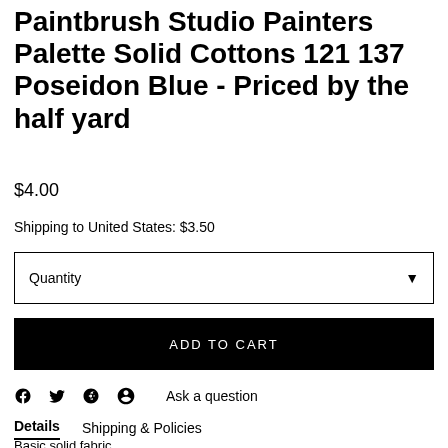Paintbrush Studio Painters Palette Solid Cottons 121 137 Poseidon Blue - Priced by the half yard
$4.00
Shipping to United States: $3.50
Quantity
ADD TO CART
Ask a question
Details	Shipping & Policies
Basic solid fabric